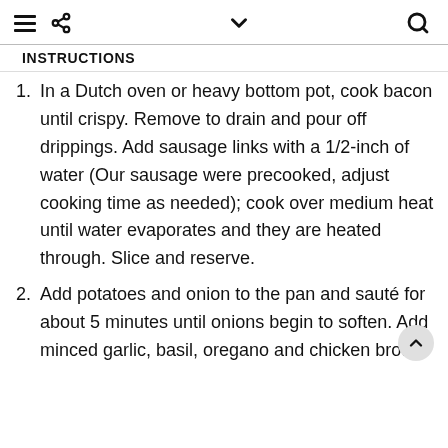≡  ⋖  ∨  Q
INSTRUCTIONS
In a Dutch oven or heavy bottom pot, cook bacon until crispy. Remove to drain and pour off drippings. Add sausage links with a 1/2-inch of water (Our sausage were precooked, adjust cooking time as needed); cook over medium heat until water evaporates and they are heated through. Slice and reserve.
Add potatoes and onion to the pan and sauté for about 5 minutes until onions begin to soften. Add minced garlic, basil, oregano and chicken broth.